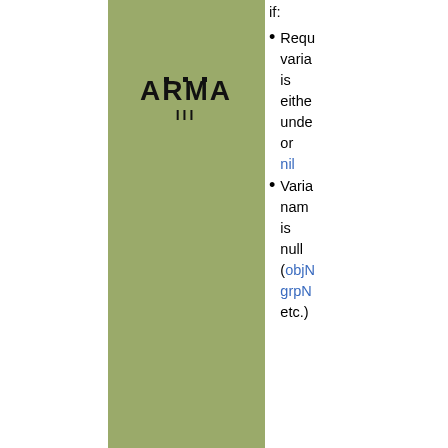if:
Required variable is either undefined or nil
Variable name is null (objNull, grpNull, etc.)
[Figure (logo): ARMA 3 game logo in black on olive green background]
Groups:
Variable Names · Multiplayer
Syntax